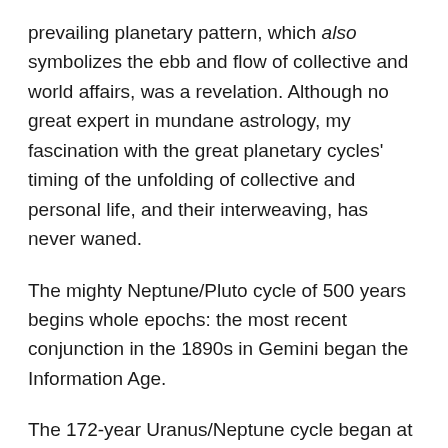prevailing planetary pattern, which also symbolizes the ebb and flow of collective and world affairs, was a revelation. Although no great expert in mundane astrology, my fascination with the great planetary cycles' timing of the unfolding of collective and personal life, and their interweaving, has never waned.
The mighty Neptune/Pluto cycle of 500 years begins whole epochs: the most recent conjunction in the 1890s in Gemini began the Information Age.
The 172-year Uranus/Neptune cycle began at 2°- 3° Capricorn in 1821; the next Uranus/Neptune cycle began at 18°-19° Capricorn in 1993.
Seminal thinkers such as U.S. Transcendentalist philosopher Henry David Thoreau (1817-62) and